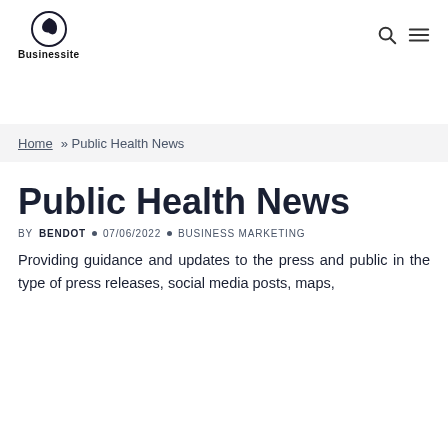[Figure (logo): Businessite logo with spiral icon and text 'Businessite']
Home » Public Health News
Public Health News
BY BENDOT · 07/06/2022 · BUSINESS MARKETING
Providing guidance and updates to the press and public in the type of press releases, social media posts, maps,